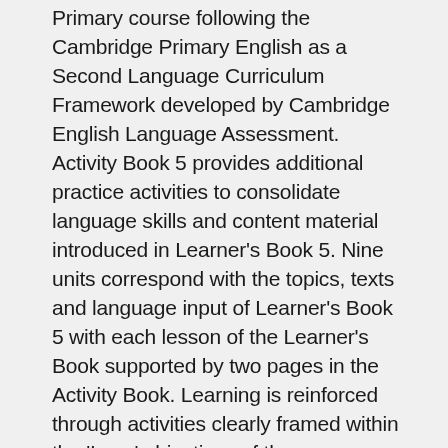Primary course following the Cambridge Primary English as a Second Language Curriculum Framework developed by Cambridge English Language Assessment. Activity Book 5 provides additional practice activities to consolidate language skills and content material introduced in Learner's Book 5. Nine units correspond with the topics, texts and language input of Learner's Book 5 with each lesson of the Learner's Book supported by two pages in the Activity Book. Learning is reinforced through activities clearly framed within the 'I can' objectives of the course, opportunities for personalisation and creative work and a higher level of challenge to support differentiation. Each unit in the Activity Book ends with revision and opportunity for self-assessment. CEFR